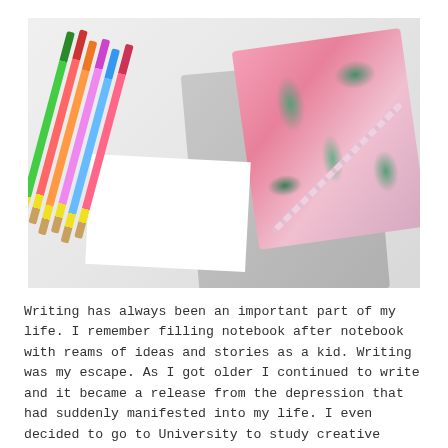[Figure (photo): Flat lay photo of colorful pencils/pens fanned out on a white surface, alongside a pink panda-themed notebook and a gray journal/cover, with a decorative spiral pencil and a bear sticker.]
Writing has always been an important part of my life. I remember filling notebook after notebook with reams of ideas and stories as a kid. Writing was my escape. As I got older I continued to write and it became a release from the depression that had suddenly manifested into my life. I even decided to go to University to study creative writing.